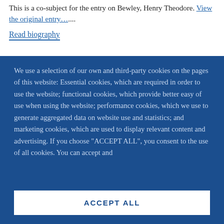This is a co-subject for the entry on Bewley, Henry Theodore. View the original entry....
Read biography
We use a selection of our own and third-party cookies on the pages of this website: Essential cookies, which are required in order to use the website; functional cookies, which provide better easy of use when using the website; performance cookies, which we use to generate aggregated data on website use and statistics; and marketing cookies, which are used to display relevant content and advertising. If you choose "ACCEPT ALL", you consent to the use of all cookies. You can accept and
ACCEPT ALL